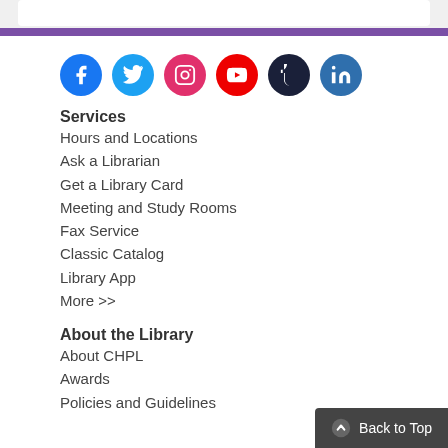[Figure (infographic): Social media icon row: Facebook, Twitter, Instagram, YouTube, Tumblr, LinkedIn circles]
Services
Hours and Locations
Ask a Librarian
Get a Library Card
Meeting and Study Rooms
Fax Service
Classic Catalog
Library App
More >>
About the Library
About CHPL
Awards
Policies and Guidelines
Back to Top